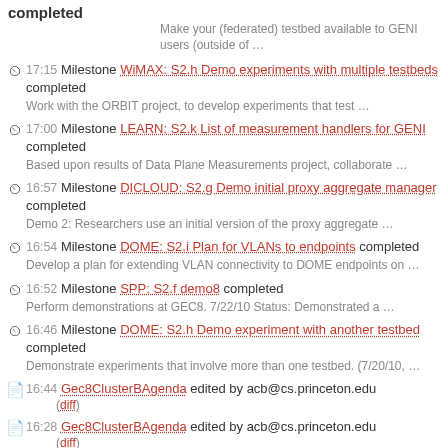completed
Make your (federated) testbed available to GENI users (outside of …
17:15 Milestone WiMAX: S2.h Demo experiments with multiple testbeds completed
Work with the ORBIT project, to develop experiments that test …
17:00 Milestone LEARN: S2.k List of measurement handlers for GENI completed
Based upon results of Data Plane Measurements project, collaborate …
16:57 Milestone DICLOUD: S2.g Demo initial proxy aggregate manager completed
Demo 2: Researchers use an initial version of the proxy aggregate …
16:54 Milestone DOME: S2.i Plan for VLANs to endpoints completed
Develop a plan for extending VLAN connectivity to DOME endpoints on …
16:52 Milestone SPP: S2.f demo8 completed
Perform demonstrations at GEC8. 7/22/10 Status: Demonstrated a …
16:46 Milestone DOME: S2.h Demo experiment with another testbed completed
Demonstrate experiments that involve more than one testbed. (7/20/10, …
16:44 Gec8ClusterBAgenda edited by acb@cs.princeton.edu (diff)
16:28 Gec8ClusterBAgenda edited by acb@cs.princeton.edu (diff)